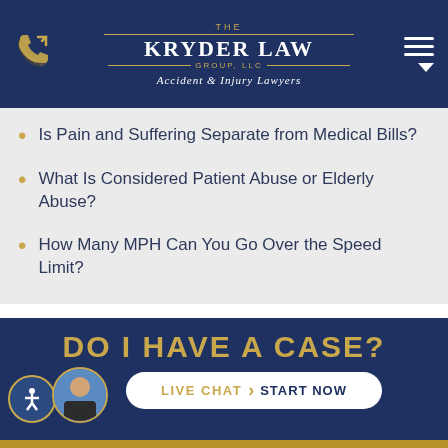THE KRYDER LAW GROUP, LLC — Accident & Injury Lawyers
Is Pain and Suffering Separate from Medical Bills?
What Is Considered Patient Abuse or Elderly Abuse?
How Many MPH Can You Go Over the Speed Limit?
DO I HAVE A CASE?
LIVE CHAT  START NOW